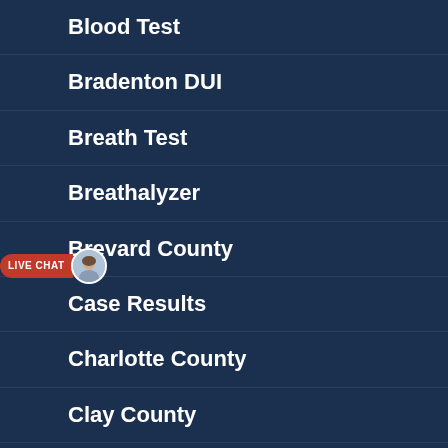Blood Test
Bradenton DUI
Breath Test
Breathalyzer
Brevard County
Case Results
Charlotte County
Clay County
Clearwater DUI
DMV hearing
Driving pattern
drug possession